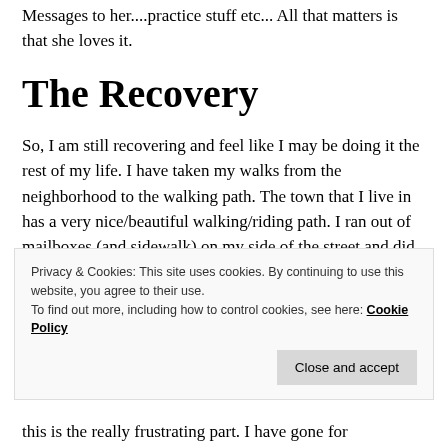Messages to her....practice stuff etc... All that matters is that she loves it.
The Recovery
So, I am still recovering and feel like I may be doing it the rest of my life. I have taken my walks from the neighborhood to the walking path. The town that I live in has a very nice/beautiful walking/riding path. I ran out of mailboxes (and sidewalk) on my side of the street and did not like crossing the street. I am just too slow and it is a main road. So, I am not
Privacy & Cookies: This site uses cookies. By continuing to use this website, you agree to their use.
To find out more, including how to control cookies, see here: Cookie Policy
Close and accept
this is the really frustrating part. I have gone for